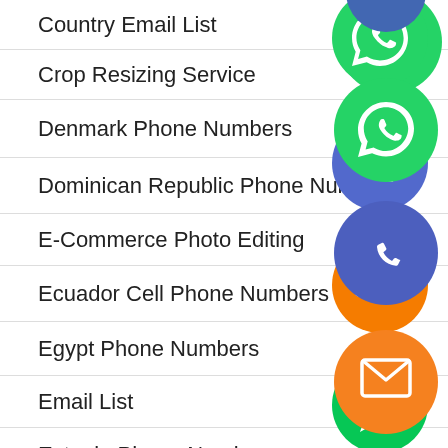Country Email List
Crop Resizing Service
Denmark Phone Numbers
Dominican Republic Phone Numbers
E-Commerce Photo Editing
Ecuador Cell Phone Numbers
Egypt Phone Numbers
Email List
Estonia Phone Numbers
[Figure (infographic): Overlapping social/messaging app icons: WhatsApp (green), phone/call (purple-blue), email/envelope (orange), LINE (green), Viber (purple), close/X (green)]